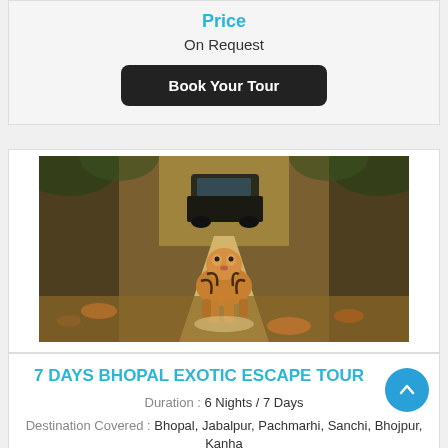Price
On Request
Book Your Tour
[Figure (photo): A tiger walking on a forest path toward the camera with a jeep visible in the background]
7 DAYS BHOPAL EXOTIC ESCAPE TOUR
Duration : 6 Nights / 7 Days
Destination Covered : Bhopal, Jabalpur, Pachmarhi, Sanchi, Bhojpur, Kanha
Tour Themes : Religious & Pilgrimage, Wildlife